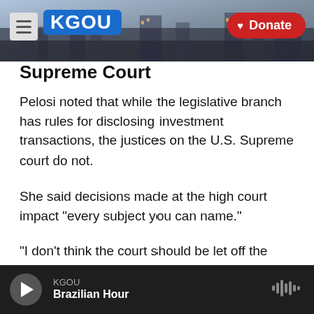[Figure (screenshot): KGOU radio website header with logo on blue background, hamburger menu button on left, and red Donate button on right, with city skyline photo in background]
Supreme Court
Pelosi noted that while the legislative branch has rules for disclosing investment transactions, the justices on the U.S. Supreme court do not.
She said decisions made at the high court impact "every subject you can name."
"I don't think the court should be let off the hook," the speaker said. She pointed to recent comments by Chief Justice John Roberts alluding to reports about judges avoiding any appearances of conflicts of interest.
KGOU
Brazilian Hour